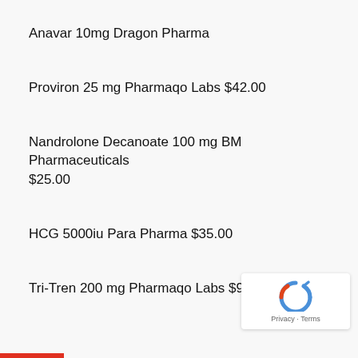Anavar 10mg Dragon Pharma
Proviron 25 mg Pharmaqo Labs $42.00
Nandrolone Decanoate 100 mg BM Pharmaceuticals $25.00
HCG 5000iu Para Pharma $35.00
Tri-Tren 200 mg Pharmaqo Labs $99.00